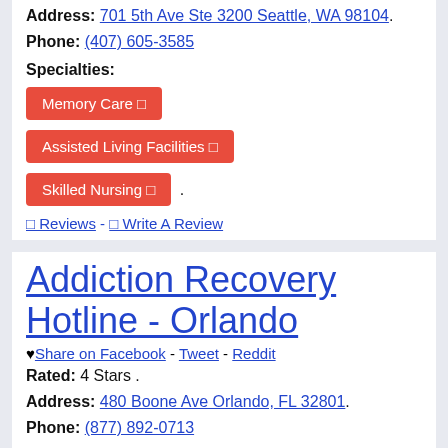Address: 701 5th Ave Ste 3200 Seattle, WA 98104.
Phone: (407) 605-3585
Specialties:
Memory Care
Assisted Living Facilities
Skilled Nursing
0 Reviews - 0 Write A Review
Addiction Recovery Hotline - Orlando
♥ Share on Facebook - Tweet - Reddit
Rated: 4 Stars .
Address: 480 Boone Ave Orlando, FL 32801.
Phone: (877) 892-0713
Specialties:
Rehabilitation Center